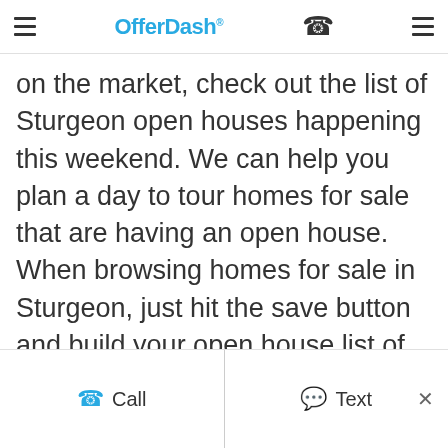OfferDash
on the market, check out the list of Sturgeon open houses happening this weekend. We can help you plan a day to tour homes for sale that are having an open house. When browsing homes for sale in Sturgeon, just hit the save button and build your open house list of homes you want to tour. If you're not finding any open house options on a property you want to tour, our local Partner Agents can schedule a private tour for you.
Call   Text